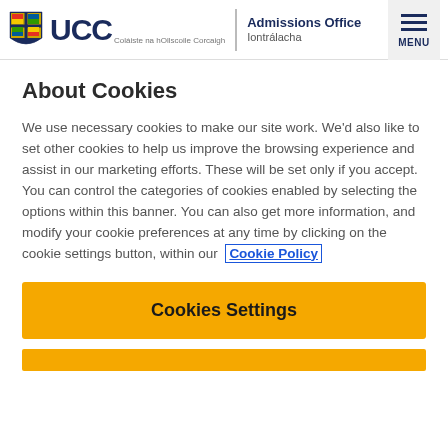UCC Admissions Office Iontrálacha
About Cookies
We use necessary cookies to make our site work. We'd also like to set other cookies to help us improve the browsing experience and assist in our marketing efforts. These will be set only if you accept. You can control the categories of cookies enabled by selecting the options within this banner. You can also get more information, and modify your cookie preferences at any time by clicking on the cookie settings button, within our Cookie Policy
Cookies Settings